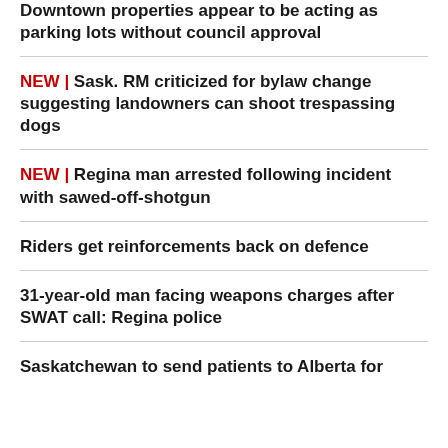Downtown properties appear to be acting as parking lots without council approval
NEW | Sask. RM criticized for bylaw change suggesting landowners can shoot trespassing dogs
NEW | Regina man arrested following incident with sawed-off-shotgun
Riders get reinforcements back on defence
31-year-old man facing weapons charges after SWAT call: Regina police
Saskatchewan to send patients to Alberta for